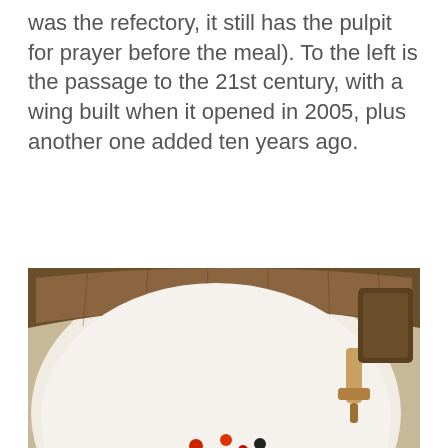was the refectory, it still has the pulpit for prayer before the meal). To the left is the passage to the 21st century, with a wing built when it opened in 2005, plus another one added ten years ago.
[Figure (photo): Close-up photo of a large wooden barrel or tub viewed from above, showing the curved wooden rim and interior with a white surface. Small red and black berries or dots visible in the center. A wooden tap/spigot visible on the right side.]
This website stores cookies on your computer. These cookies are used to improve your website experience and provide more personalized services to you.

We won't track your information when you visit our site. But in order to comply with your preferences, we'll have to use just one tiny cookie so that you're not asked to make this choice again.